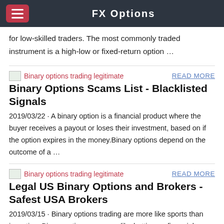FX Options
for low-skilled traders. The most commonly traded instrument is a high-low or fixed-return option …
[Figure (illustration): Small broken image placeholder labeled 'Binary options trading legitimate']
READ MORE
Binary Options Scams List - Blacklisted Signals
2019/03/22 · A binary option is a financial product where the buyer receives a payout or loses their investment, based on if the option expires in the money.Binary options depend on the outcome of a …
[Figure (illustration): Small broken image placeholder labeled 'Binary options trading legitimate']
READ MORE
Legal US Binary Options and Brokers - Safest USA Brokers
2019/03/15 · Binary options trading are more like sports than investing. Binary options are more like betting on financial assets,